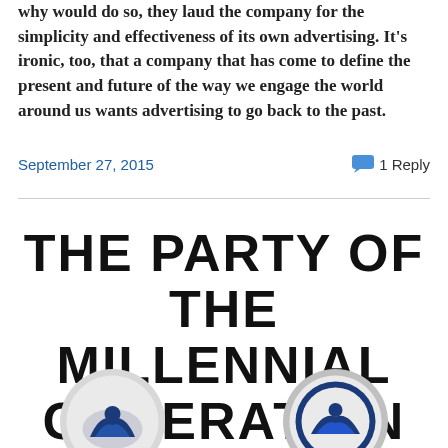why would do so, they laud the company for the simplicity and effectiveness of its own advertising. It's ironic, too, that a company that has come to define the present and future of the way we engage the world around us wants advertising to go back to the past.
September 27, 2015    1 Reply
THE PARTY OF THE MILLENNIAL GENERATION
[Figure (illustration): Two circular button/badge graphics at the bottom of the page, partially cut off. Left button shows a stylized mountain/wave logo in dark blue on light background. Right button shows a similar logo in blue with a dark outer ring.]